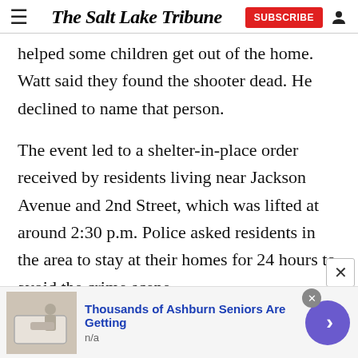The Salt Lake Tribune
helped some children get out of the home. Watt said they found the shooter dead. He declined to name that person.
The event led to a shelter-in-place order received by residents living near Jackson Avenue and 2nd Street, which was lifted at around 2:30 p.m. Police asked residents in the area to stay at their homes for 24 hours to avoid the crime scene.
[Figure (other): Advertisement banner: photo of walk-in bathtub with text 'Thousands of Ashburn Seniors Are Getting' and navigation arrow button]
Thousands of Ashburn Seniors Are Getting
n/a